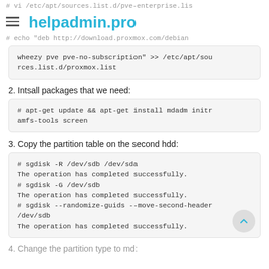# vi /etc/apt/sources.list.d/pve-enterprise.lis
helpadmin.pro
# echo "deb http://download.proxmox.com/debian
wheezy pve pve-no-subscription" >> /etc/apt/sources.list.d/proxmox.list
2. Intsall packages that we need:
# apt-get update && apt-get install mdadm initramfs-tools screen
3. Copy the partition table on the second hdd:
# sgdisk -R /dev/sdb /dev/sda
The operation has completed successfully.
# sgdisk -G /dev/sdb
The operation has completed successfully.
# sgdisk --randomize-guids --move-second-header /dev/sdb
The operation has completed successfully.
4. Change the partition type to md: